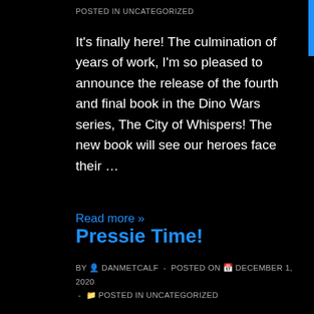POSTED IN UNCATEGORIZED
It's finally here! The culmination of years of work, I'm so pleased to announce the release of the fourth and final book in the Dino Wars series, The City of Whispers! The new book will see our heroes face their …
Read more »
Pressie Time!
BY  DANMETCALF  -  POSTED ON  DECEMBER 1, 2020  -   POSTED IN UNCATEGORIZED